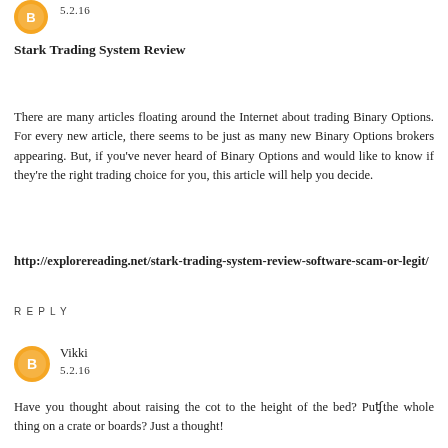[Figure (illustration): Orange circular avatar icon at top left]
5.2.16
Stark Trading System Review
There are many articles floating around the Internet about trading Binary Options. For every new article, there seems to be just as many new Binary Options brokers appearing. But, if you've never heard of Binary Options and would like to know if they're the right trading choice for you, this article will help you decide.
http://explorereading.net/stark-trading-system-review-software-scam-or-legit/
REPLY
[Figure (illustration): Orange circular avatar icon with letter B for user Vikki]
Vikki
5.2.16
Have you thought about raising the cot to the height of the bed? Put the whole thing on a crate or boards? Just a thought!